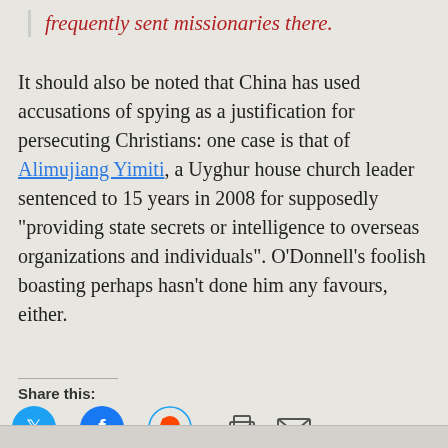frequently sent missionaries there.
It should also be noted that China has used accusations of spying as a justification for persecuting Christians: one case is that of Alimujiang Yimiti, a Uyghur house church leader sentenced to 15 years in 2008 for supposedly “providing state secrets or intelligence to overseas organizations and individuals”. O’Donnell’s foolish boasting perhaps hasn’t done him any favours, either.
Share this: